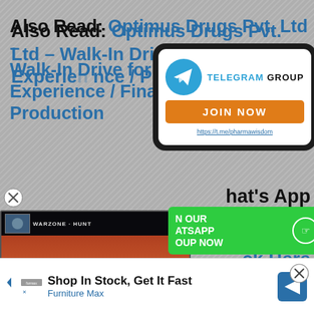Also Read: Optimus Drugs Pvt. Ltd – Walk-In Drive for Freshers & Experienced – QA / QC / Finance / Production – Apply Now
[Figure (screenshot): Telegram group join popup with blue Telegram logo, orange JOIN NOW button, and WhatsApp group overlay with green bar and red close button. A video game thumbnail is overlaid on the left side.]
hat's App
ck Here
No relate
[Figure (screenshot): Bottom advertisement banner: Shop In Stock, Get It Fast – Furniture Max, with navigation arrow logo and close button]